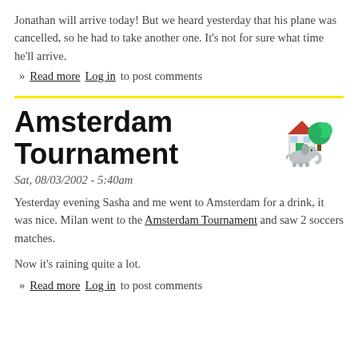Jonathan will arrive today! But we heard yesterday that his plane was cancelled, so he had to take another one. It's not for sure what time he'll arrive.
» Read more  Log in to post comments
Amsterdam Tournament
Sat, 08/03/2002 - 5:40am
Yesterday evening Sasha and me went to Amsterdam for a drink, it was nice. Milan went to the Amsterdam Tournament and saw 2 soccers matches.
Now it's raining quite a lot.
» Read more  Log in to post comments